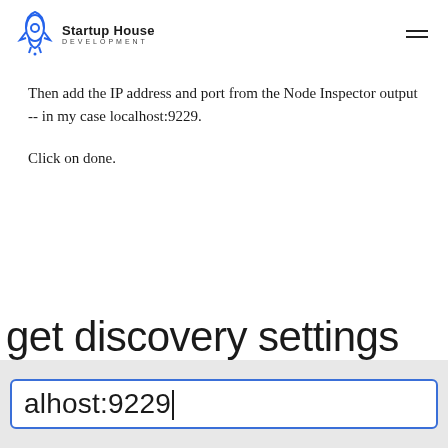Startup House DEVELOPMENT
Then add the IP address and port from the Node Inspector output -- in my case localhost:9229.
Click on done.
get discovery settings
[Figure (screenshot): An input field showing 'alhost:9229' with a blue border, partially cropped on the left, on a gray background.]